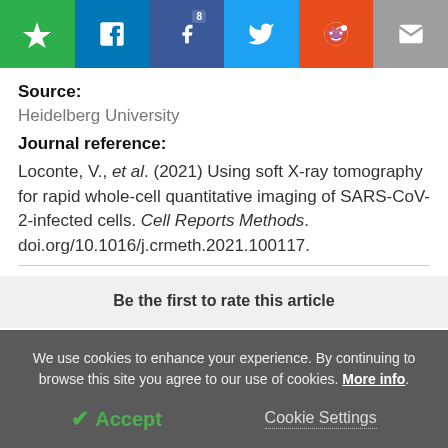[Figure (screenshot): Social sharing toolbar with icons for bookmark (green), LinkedIn (blue), Facebook with badge '8' (dark blue), Twitter (light blue), Reddit (orange-red), and email (grey)]
Source:
Heidelberg University
Journal reference:
Loconte, V., et al. (2021) Using soft X-ray tomography for rapid whole-cell quantitative imaging of SARS-CoV-2-infected cells. Cell Reports Methods. doi.org/10.1016/j.crmeth.2021.100117.
Be the first to rate this article
We use cookies to enhance your experience. By continuing to browse this site you agree to our use of cookies. More info.
✓ Accept
Cookie Settings